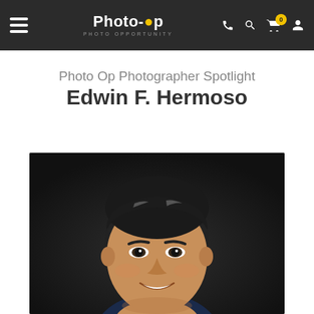Photo-Op Photo Opportunity navigation bar with hamburger menu, logo, phone, search, cart (0), account icons
Photo Op Photographer Spotlight
Edwin F. Hermoso
[Figure (photo): Portrait photo of Edwin F. Hermoso, a smiling middle-aged Asian man with dark hair, against a dark background, wearing a dark blue shirt]